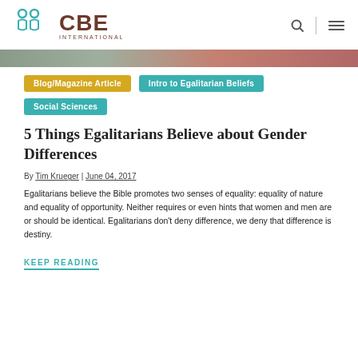CBE International
[Figure (illustration): Colorful banner strip — gray-green on left transitioning to dusty rose/red on right]
Blog/Magazine Article
Intro to Egalitarian Beliefs
Social Sciences
5 Things Egalitarians Believe about Gender Differences
By Tim Krueger | June 04, 2017
Egalitarians believe the Bible promotes two senses of equality: equality of nature and equality of opportunity. Neither requires or even hints that women and men are or should be identical. Egalitarians don't deny difference, we deny that difference is destiny.
KEEP READING